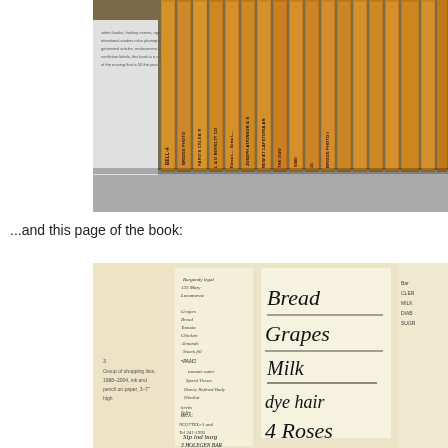[Figure (photo): Photograph of multiple wooden rulers/sticks standing upright with text printed on them, alongside an open book, displayed on a gray surface]
...and this page of the book:
[Figure (photo): Photograph of a book page showing multiple handwritten shopping lists. One prominent list reads: Bread, Grapes, Milk, dye hair, 4 Roses. Other lists visible with cursive handwriting. Bottom left shows caption: '3. Group of shopping lists, 1988-2004, ink and pencil on paper, 3-7" high']